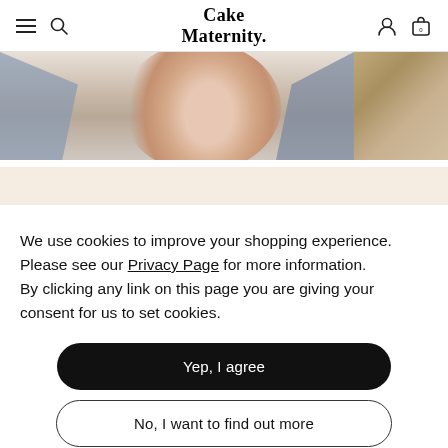Cake Maternity — navigation bar with hamburger, search, logo, user and cart icons
[Figure (photo): Photo of pregnant woman's belly wearing denim clothing, partially visible; a second smaller photo to the right showing a textured surface]
We use cookies to improve your shopping experience. Please see our Privacy Page for more information.
By clicking any link on this page you are giving your consent for us to set cookies.
Yep, I agree
No, I want to find out more